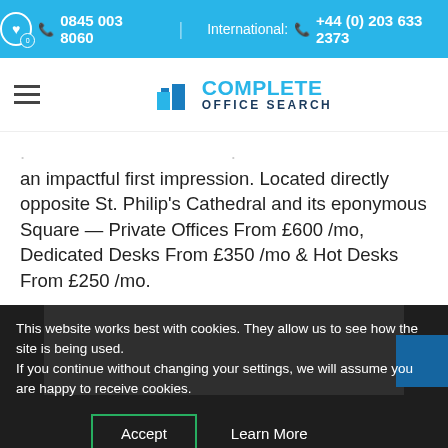0845 003 8060  International: +44 (0) 203 633 2373
[Figure (logo): Complete Office Search logo with blue building icon, 'COMPLETE' in cyan and 'OFFICE SEARCH' in dark navy]
an impactful first impression. Located directly opposite St. Philip's Cathedral and its eponymous Square — Private Offices From £600 /mo, Dedicated Desks From £350 /mo & Hot Desks From £250 /mo.
This website works best with cookies. They allow us to see how the site is being used.
If you continue without changing your settings, we will assume you are happy to receive cookies.
Accept   Learn More